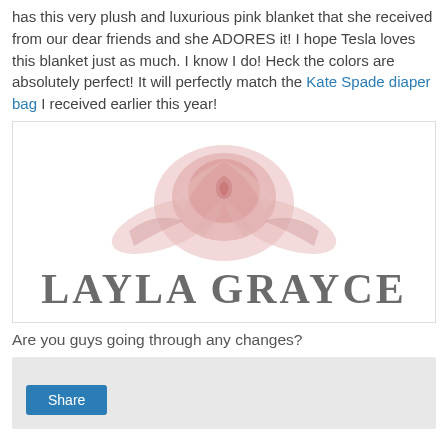has this very plush and luxurious pink blanket that she received from our dear friends and she ADORES it! I hope Tesla loves this blanket just as much. I know I do! Heck the colors are absolutely perfect! It will perfectly match the Kate Spade diaper bag I received earlier this year!
[Figure (logo): Layla Grayce brand logo: a pink rose illustration above the text 'LAYLA GRAYCE' in large gray serif letters]
Are you guys going through any changes?
[Figure (screenshot): Gray comment/share box with a blue 'Share' button in the lower left]